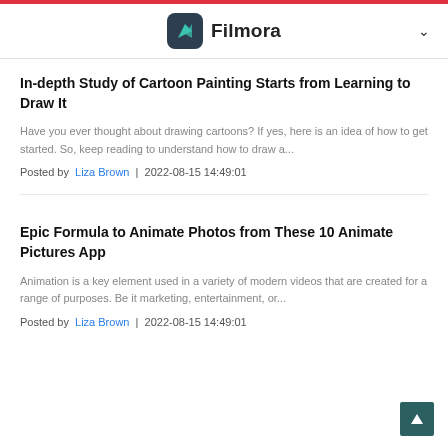Filmora
In-depth Study of Cartoon Painting Starts from Learning to Draw It
Have you ever thought about drawing cartoons? If yes, here is an idea of how to get started. So, keep reading to understand how to draw a...
Posted by Liza Brown | 2022-08-15 14:49:01
Epic Formula to Animate Photos from These 10 Animate Pictures App
Animation is a key element used in a variety of modern videos that are created for a range of purposes. Be it marketing, entertainment, or...
Posted by Liza Brown | 2022-08-15 14:49:01